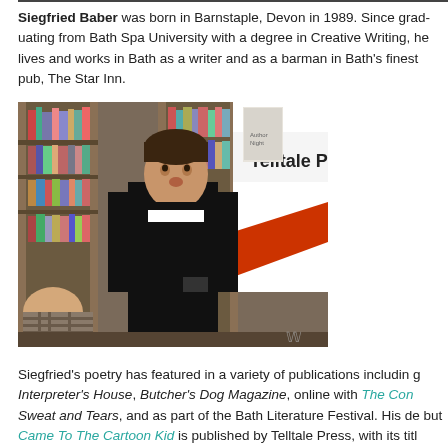Siegfried Baber was born in Barnstaple, Devon in 1989. Since graduating from Bath Spa University with a degree in Creative Writing, he lives and works in Bath as a writer and as a barman in Bath's finest pub, The Star Inn.
[Figure (photo): Photo of Siegfried Baber standing in front of a Telltale Press banner inside a bookshop, with bookshelves behind him and another person partially visible in the foreground.]
Siegfried's poetry has featured in a variety of publications including Interpreter's House, Butcher's Dog Magazine, online with The Con, Sweat and Tears, and as part of the Bath Literature Festival. His debut Came To The Cartoon Kid is published by Telltale Press, with its title...